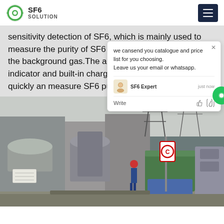SF6 SOLUTION
sensitivity detection of SF6, which is mainly used to measure the purity of SF6 gas and is not affected by the background gas.The analyst has battery charging indicator and built-in charg detection component can quickly an measure SF6 purity.
[Figure (screenshot): Chat popup overlay with message: we cansend you catalogue and price list for you choosing. Leave us your email or whatsapp. SF6 Expert just now. Write.]
[Figure (photo): Outdoor electrical substation with large industrial equipment, transformers, a worker in blue uniform and red hard hat, green tarpaulin-covered equipment, and power transmission towers in background.]